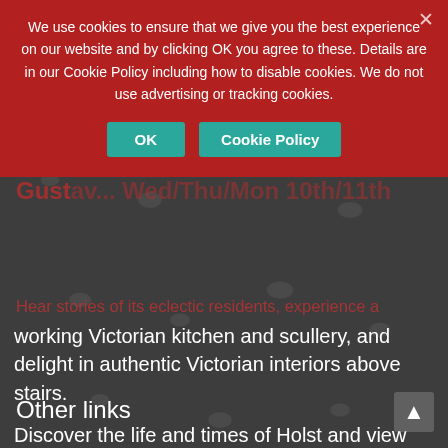Birthplace of the composer Gustav Holst, born here September and Gustav... Wed/Thu/Mon 10th/11th
Hear stories of its eclectic residents, experience a working Victorian kitchen and scullery, and delight in authentic Victorian interiors above stairs.
We use cookies to ensure that we give you the best experience on our website and by clicking OK you agree to these. Details are in our Cookie Policy including how to disable cookies. We do not use advertising or tracking cookies.
Discover the life and times of Holst and view many of his possessions, including a piano on which he composed The Planets.
Please check Home Page for current opening times. For more detailed directions please see the Visit page.
Other links